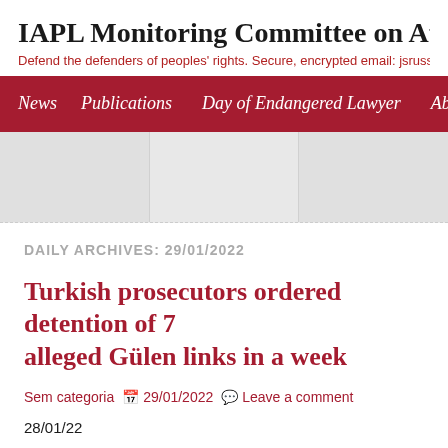IAPL Monitoring Committee on Attacks o
Defend the defenders of peoples' rights. Secure, encrypted email: jsrussell
News  Publications  Day of Endangered Lawyer  About
DAILY ARCHIVES: 29/01/2022
Turkish prosecutors ordered detention of 7 alleged Gülen links in a week
Sem categoria  29/01/2022  Leave a comment
28/01/22